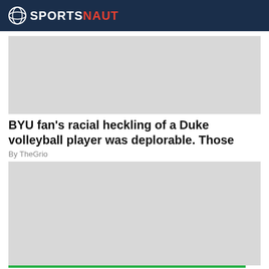SPORTSNAUT
[Figure (other): Gray advertisement placeholder banner (top)]
BYU fan's racial heckling of a Duke volleyball player was deplorable. Those
By TheGrio
[Figure (other): Gray advertisement placeholder banner (bottom)]
Sportsnaut logo and social media icons: Facebook, Twitter, LinkedIn, Instagram, YouTube